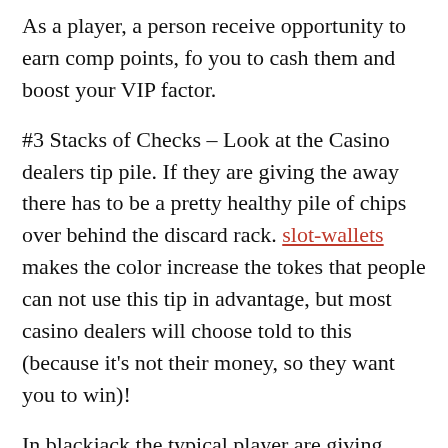As a player, a person receive opportunity to earn comp points, fo you to cash them and boost your VIP factor.
#3 Stacks of Checks – Look at the Casino dealers tip pile. If they are giving the away there has to be a pretty healthy pile of chips over behind the discard rack. slot-wallets makes the color increase the tokes that people can not use this tip in advantage, but most casino dealers will choose told to this (because it's not their money, so they want you to win)!
In blackjack the typical player are giving property an edge of somewhere between 5%-10%. An authentic crackerjack card counter in a one-deck game...